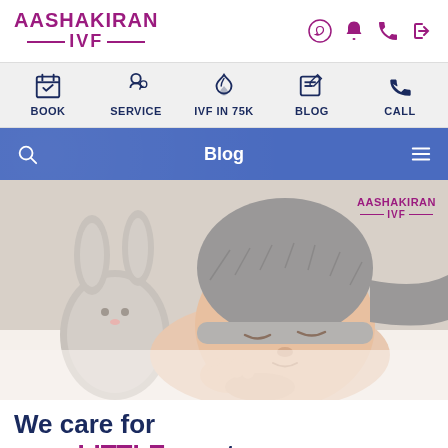[Figure (logo): Aashakiran IVF logo with magenta text and horizontal divider lines]
[Figure (infographic): Top navigation bar with icons: BOOK (calendar), SERVICE (mother-child), IVF IN 75K (cyclone), BLOG (pen-and-paper), CALL (phone)]
[Figure (screenshot): Blue navigation bar with search icon, 'Blog' title, and hamburger menu]
[Figure (photo): Sleeping newborn baby wearing a grey knitted bunny hat, holding a grey stuffed rabbit toy. Aashakiran IVF watermark in top right corner.]
We care for your LITTLE one too